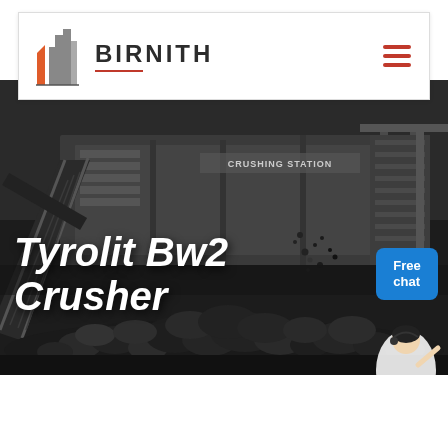[Figure (logo): Birnith company logo with orange/red building icon and brand name BIRNITH]
[Figure (photo): Industrial crusher machine (crushing station) in dark/grey tones with rocks/gravel piled underneath, large machinery with conveyor belt]
Tyrolit Bw2 Crusher
[Figure (other): Free chat button - blue rounded rectangle with white text 'Free chat' and customer service representative icon]